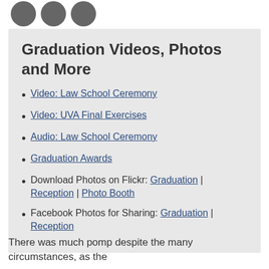[Figure (illustration): Three dark gray social media icon circles partially visible at top]
Graduation Videos, Photos and More
Video: Law School Ceremony
Video: UVA Final Exercises
Audio: Law School Ceremony
Graduation Awards
Download Photos on Flickr: Graduation | Reception | Photo Booth
Facebook Photos for Sharing: Graduation | Reception
There was much pomp despite the many circumstances, as the